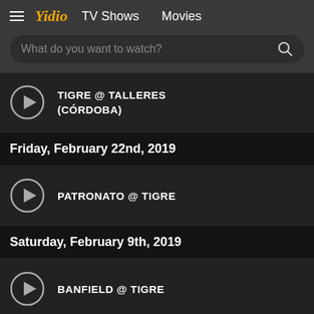≡ Yidio  TV Shows  Movies
What do you want to watch?
TIGRE @ TALLERES (CÓRDOBA)
Friday, February 22nd, 2019
PATRONATO @ TIGRE
Saturday, February 9th, 2019
BANFIELD @ TIGRE
Monday, March 4th, 2019